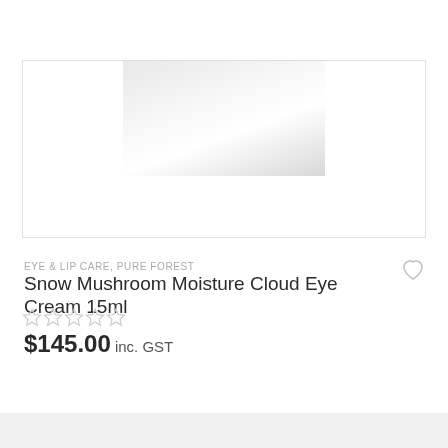[Figure (photo): Product image placeholder showing a faint gradient rectangle representing a product photo for Snow Mushroom Moisture Cloud Eye Cream 15ml]
EYE & LIP CARE, PURE FOREST
Snow Mushroom Moisture Cloud Eye Cream 15ml
[Figure (other): Five empty/unfilled star rating icons in light gray]
$145.00 inc. GST